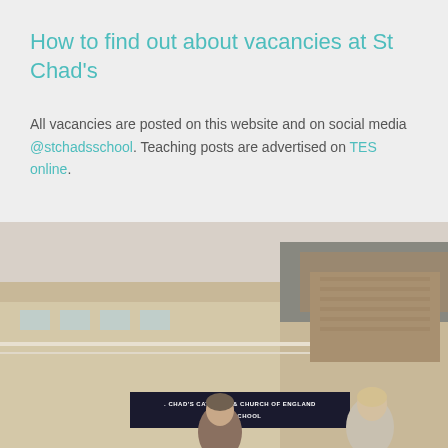How to find out about vacancies at St Chad's
All vacancies are posted on this website and on social media @stchadsschool.  Teaching posts are advertised on TES online.
[Figure (photo): Photograph of St Chad's Catholic & Church of England High School building exterior with students in the foreground]